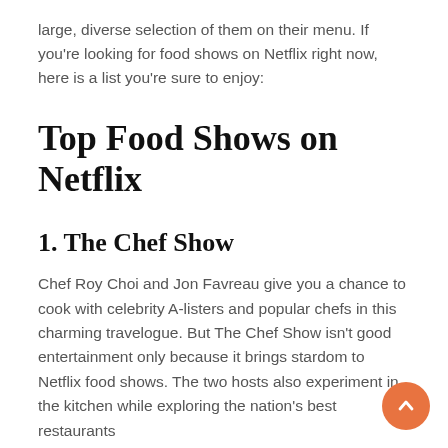large, diverse selection of them on their menu. If you're looking for food shows on Netflix right now, here is a list you're sure to enjoy:
Top Food Shows on Netflix
1. The Chef Show
Chef Roy Choi and Jon Favreau give you a chance to cook with celebrity A-listers and popular chefs in this charming travelogue. But The Chef Show isn't good entertainment only because it brings stardom to Netflix food shows. The two hosts also experiment in the kitchen while exploring the nation's best restaurants